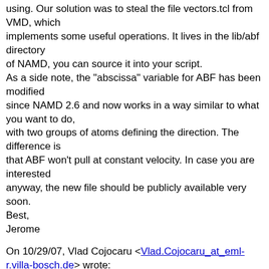using. Our solution was to steal the file vectors.tcl from VMD, which implements some useful operations. It lives in the lib/abf directory of NAMD, you can source it into your script.
As a side note, the "abscissa" variable for ABF has been modified since NAMD 2.6 and now works in a way similar to what you want to do,
with two groups of atoms defining the direction. The difference is that ABF won't pull at constant velocity. In case you are interested anyway, the new file should be publicly available very soon.
Best,
Jerome
On 10/29/07, Vlad Cojocaru <Vlad.Cojocaru_at_eml-r.villa-bosch.de> wrote:
> Dear NAMD users,
>
> I would like to use Tcl forces to move an atom with constant velocity
> along a directon defined by two other atoms in the protein (an internal
> direction which would change between time steps in function of how the
> protein translates and/or rotates). Below I attach an attempt of script
> to do that. However, I am not sure whether this is a correct script